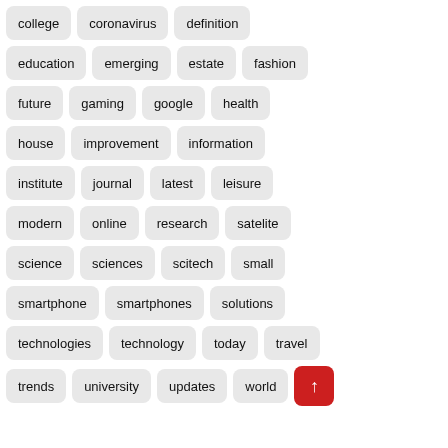college
coronavirus
definition
education
emerging
estate
fashion
future
gaming
google
health
house
improvement
information
institute
journal
latest
leisure
modern
online
research
satelite
science
sciences
scitech
small
smartphone
smartphones
solutions
technologies
technology
today
travel
trends
university
updates
world